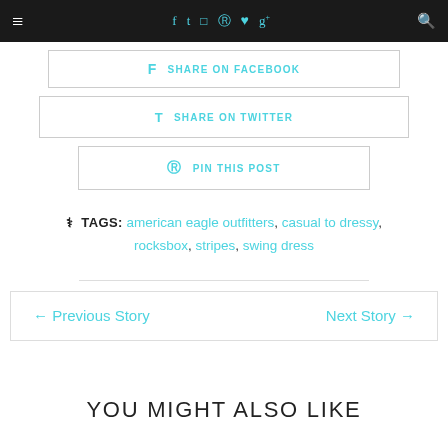≡  f  t  ⌂  ®  ♥  g+  🔍
SHARE ON FACEBOOK
SHARE ON TWITTER
PIN THIS POST
TAGS: american eagle outfitters, casual to dressy, rocksbox, stripes, swing dress
← Previous Story   Next Story →
YOU MIGHT ALSO LIKE